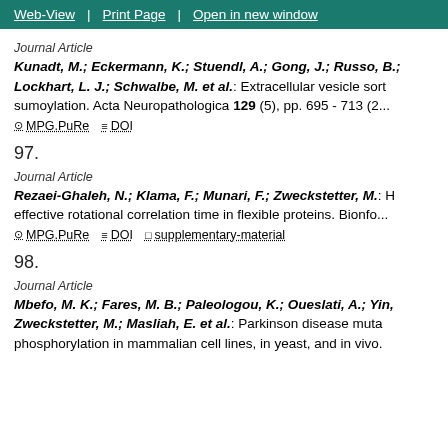Web-View | Print Page | Open in new window
Journal Article
Kunadt, M.; Eckermann, K.; Stuendl, A.; Gong, J.; Russo, B.; Lockhart, L. J.; Schwalbe, M. et al.: Extracellular vesicle sort sumoylation. Acta Neuropathologica 129 (5), pp. 695 - 713 (2...
MPG.PuRe   DOI
97.
Journal Article
Rezaei-Ghaleh, N.; Klama, F.; Munari, F.; Zweckstetter, M.: H effective rotational correlation time in flexible proteins. Bionf
MPG.PuRe   DOI   supplementary-material
98.
Journal Article
Mbefo, M. K.; Fares, M. B.; Paleologou, K.; Oueslati, A.; Yin, Zweckstetter, M.; Masliah, E. et al.: Parkinson disease muta phosphorylation in mammalian cell lines, in yeast, and in vivo.